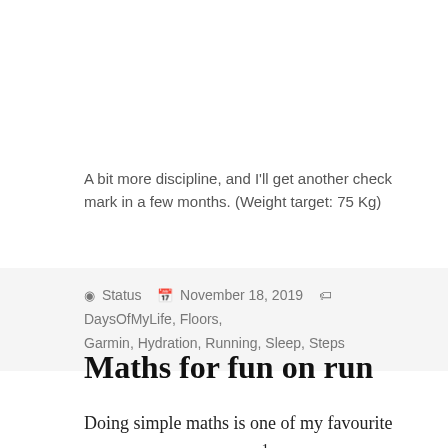A bit more discipline, and I'll get another check mark in a few months. (Weight target: 75 Kg)
Status  November 18, 2019  DaysOfMyLife, Floors, Garmin, Hydration, Running, Sleep, Steps
Maths for fun on run
Doing simple maths is one of my favourite things to do on solo runs¹. I try to calculate my pace based on